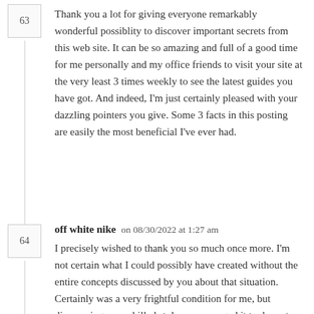Thank you a lot for giving everyone remarkably wonderful possiblity to discover important secrets from this web site. It can be so amazing and full of a good time for me personally and my office friends to visit your site at the very least 3 times weekly to see the latest guides you have got. And indeed, I'm just certainly pleased with your dazzling pointers you give. Some 3 facts in this posting are easily the most beneficial I've ever had.
off white nike on 08/30/2022 at 1:27 am
I precisely wished to thank you so much once more. I'm not certain what I could possibly have created without the entire concepts discussed by you about that situation. Certainly was a very frightful condition for me, but discovering your skilled style you managed it took me to leap with gladness. I'm happier for this advice and